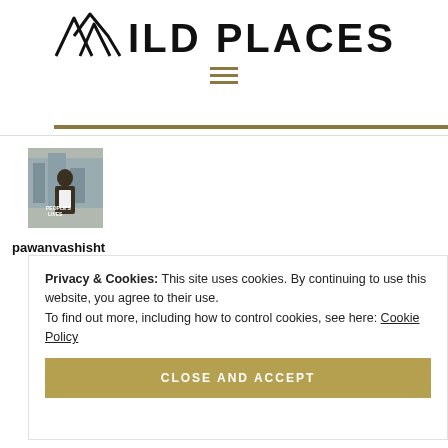WILD PLACES
Boris
5 Apr 2016 (05:53)
Thanks!
REPLY
[Figure (photo): Avatar photo of a person in a city setting, appears to be a book cover or profile image]
pawanvashisht
Privacy & Cookies: This site uses cookies. By continuing to use this website, you agree to their use.
To find out more, including how to control cookies, see here: Cookie Policy
CLOSE AND ACCEPT